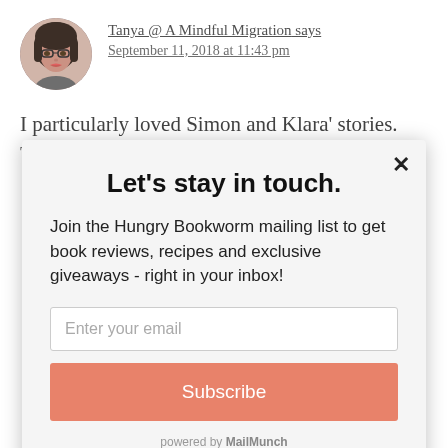Tanya @ A Mindful Migration says September 11, 2018 at 11:43 pm
I particularly loved Simon and Klara' stories.
Let's stay in touch.
Join the Hungry Bookworm mailing list to get book reviews, recipes and exclusive giveaways - right in your inbox!
Enter your email
Subscribe
powered by MailMunch